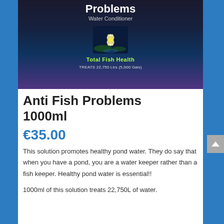[Figure (photo): Product photo of Anti Fish Problems Water Conditioner 1000ml bottle with dark label showing a water lily flower, 'Total Fish Health' text, and 'TREATS 22,750 Ltrs (5,000 Gals)' text]
Anti Fish Problems 1000ml
€35.00
This solution promotes healthy pond water. They do say that when you have a pond, you are a water keeper rather than a fish keeper. Healthy pond water is essential!!
1000ml of this solution treats 22,750L of water.